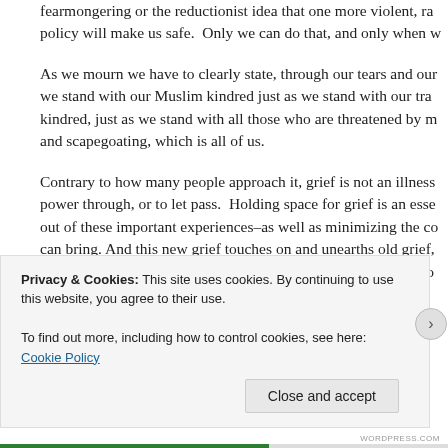fearmongering or the reductionist idea that one more violent, ra… policy will make us safe.  Only we can do that, and only when w…
As we mourn we have to clearly state, through our tears and our… we stand with our Muslim kindred just as we stand with our tra… kindred, just as we stand with all those who are threatened by m… and scapegoating, which is all of us.
Contrary to how many people approach it, grief is not an illness… power through, or to let pass.  Holding space for grief is an esse… out of these important experiences–as well as minimizing the co… can bring. And this new grief touches on and unearths old grief,… sometimes immobilizing waves. Now is the time to hold each o… beare witness to each other's humanity, however it shapes our grie…
Privacy & Cookies: This site uses cookies. By continuing to use this website, you agree to their use.
To find out more, including how to control cookies, see here: Cookie Policy
Close and accept